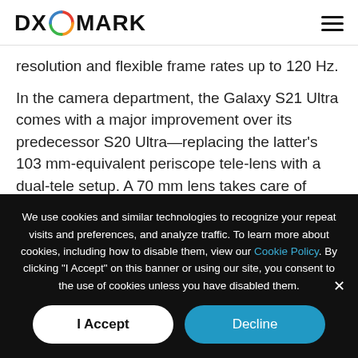DXOMARK
resolution and flexible frame rates up to 120 Hz.
In the camera department, the Galaxy S21 Ultra comes with a major improvement over its predecessor S20 Ultra—replacing the latter's 103 mm-equivalent periscope tele-lens with a dual-tele setup. A 70 mm lens takes care of medium-range tele shots, while a 240 mm juggernaut allows for extremely long tele-zooming. Both the primary
We use cookies and similar technologies to recognize your repeat visits and preferences, and analyze traffic. To learn more about cookies, including how to disable them, view our Cookie Policy. By clicking "I Accept" on this banner or using our site, you consent to the use of cookies unless you have disabled them.